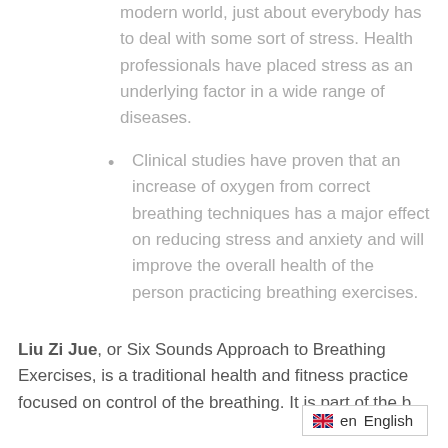modern world, just about everybody has to deal with some sort of stress. Health professionals have placed stress as an underlying factor in a wide range of diseases.
Clinical studies have proven that an increase of oxygen from correct breathing techniques has a major effect on reducing stress and anxiety and will improve the overall health of the person practicing breathing exercises.
Liu Zi Jue, or Six Sounds Approach to Breathing Exercises, is a traditional health and fitness practice focused on control of the breathing. It is part of the b...